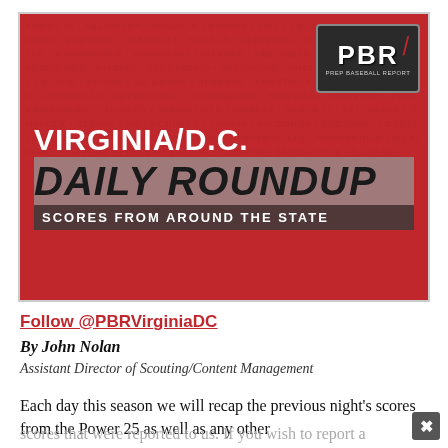[Figure (illustration): PBR Prep Baseball Report banner image for Virginia/D.C. Daily Roundup - Scores From Around The State, with red background watermark and PBR logo]
Follow @PBRVirginiaDC
By John Nolan
Assistant Director of Scouting/Content Management
Each day this season we will recap the previous night's scores from the Power 25 as well as any other scores that were reported to us. If you wish to report a score, use this Google Form.